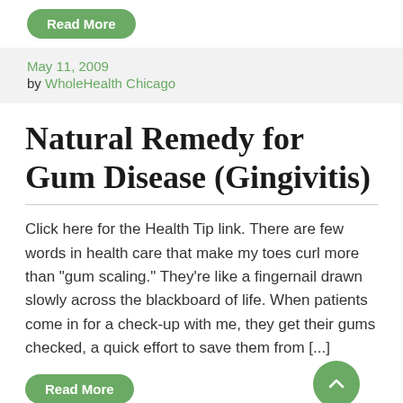Read More
May 11, 2009
by WholeHealth Chicago
Natural Remedy for Gum Disease (Gingivitis)
Click here for the Health Tip link. There are few words in health care that make my toes curl more than “gum scaling.” They’re like a fingernail drawn slowly across the blackboard of life. When patients come in for a check-up with me, they get their gums checked, a quick effort to save them from [...]
Read More